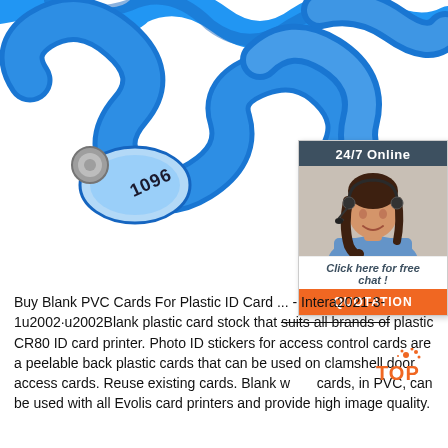[Figure (photo): Close-up photo of a blue plastic wristband/bracelet with numbered tag reading '1096', with a metal snap closure, against a white background.]
[Figure (infographic): Customer service chat widget showing a woman with a headset, with header '24/7 Online', text 'Click here for free chat!', and an orange 'QUOTATION' button.]
Buy Blank PVC Cards For Plastic ID Card ... - Intera 2021-3-1u2002·u2002Blank plastic card stock that suits all brands of plastic CR80 ID card printer. Photo ID stickers for access control cards are a peelable back plastic cards that can be used on clamshell door access cards. Reuse existing cards. Blank white cards, in PVC, can be used with all Evolis card printers and provide high image quality.
[Figure (logo): TOP logo with orange dot/splatter mark above the text.]